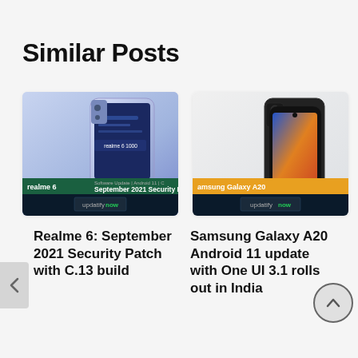Similar Posts
[Figure (photo): Realme 6 phone image with banner: 'realme 6 September 2021 Security Pa...' and updatify now badge]
[Figure (photo): Samsung Galaxy A20 phone image with banner: 'Samsung Galaxy A20' and updatify now badge]
Realme 6: September 2021 Security Patch with C.13 build
Samsung Galaxy A20 Android 11 update with One UI 3.1 rolls out in India